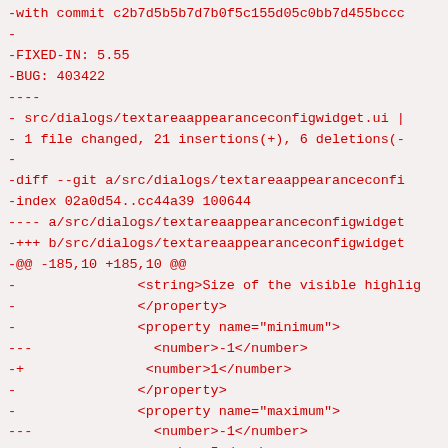-with commit c2b7d5b5b7d7b0f5c155d05c0bb7d455bccc...
-
-FIXED-IN: 5.55
-BUG: 403422
----
- src/dialogs/textareaappearanceconfigwidget.ui |
- 1 file changed, 21 insertions(+), 6 deletions(-
-
-diff --git a/src/dialogs/textareaappearanceconfi
-index 02a0d54..cc44a39 100644
---- a/src/dialogs/textareaappearanceconfigwidget
-+++ b/src/dialogs/textareaappearanceconfigwidget
-@@ -185,10 +185,10 @@
-               <string>Size of the visible highlig
-               </property>
-               <property name="minimum">
---               <number>-1</number>
-+               <number>1</number>
-               </property>
-               <property name="maximum">
---               <number>-1</number>
-+               <number>5</number>